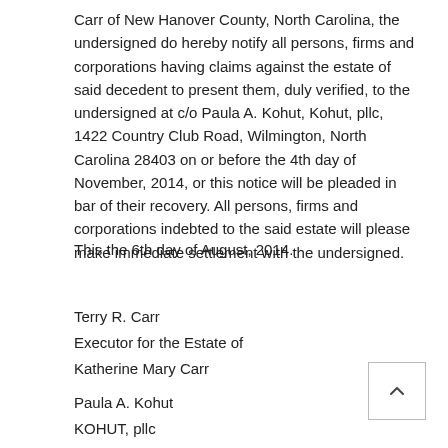Carr of New Hanover County, North Carolina, the undersigned do hereby notify all persons, firms and corporations having claims against the estate of said decedent to present them, duly verified, to the undersigned at c/o Paula A. Kohut, Kohut, pllc, 1422 Country Club Road, Wilmington, North Carolina 28403 on or before the 4th day of November, 2014, or this notice will be pleaded in bar of their recovery. All persons, firms and corporations indebted to the said estate will please make immediate settlement with the undersigned.
This the 6th day of August, 2014.
Terry R. Carr
Executor for the Estate of
Katherine Mary Carr
Paula A. Kohut
KOHUT, pllc
1422 Country Club Road
Wilmington, NC 28403